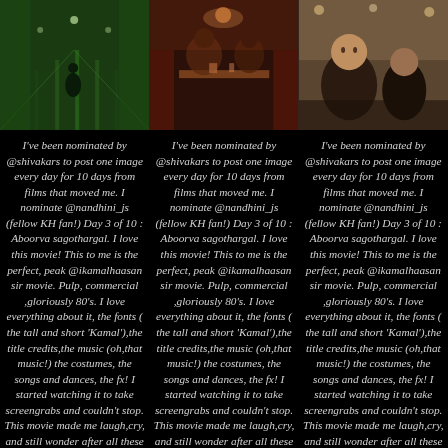[Figure (photo): Three movie stills/screenshots arranged in a row: left - bowling alley scene with green tones and figure, center - restaurant/dining scene with warm red tones, right - concert or public event scene with two people]
I've been nominated by @shivakars to post one image every day for 10 days from films that moved me. I nominate @nandhini_js (fellow KH fan!) Day 3 of 10 : Aboorva sagothargal. I love this movie! This to me is the perfect, peak @ikamalhaasan sir movie. Pulp, commercial ,gloriously 80's. I love everything about it, the fonts ( the tall and short 'Kamal'),the title credits,the music (oh,that music!) the costumes, the songs and dances, the fx! I started watching it to take screengrabs and couldn't stop. This movie made me laugh,cry, and still wonder after all these years how
I've been nominated by @shivakars to post one image every day for 10 days from films that moved me. I nominate @nandhini_js (fellow KH fan!) Day 3 of 10 : Aboorva sagothargal. I love this movie! This to me is the perfect, peak @ikamalhaasan sir movie. Pulp, commercial ,gloriously 80's. I love everything about it, the fonts ( the tall and short 'Kamal'),the title credits,the music (oh,that music!) the costumes, the songs and dances, the fx! I started watching it to take screengrabs and couldn't stop. This movie made me laugh,cry, and still wonder after all these years how
I've been nominated by @shivakars to post one image every day for 10 days from films that moved me. I nominate @nandhini_js (fellow KH fan!) Day 3 of 10 : Aboorva sagothargal. I love this movie! This to me is the perfect, peak @ikamalhaasan sir movie. Pulp, commercial ,gloriously 80's. I love everything about it, the fonts ( the tall and short 'Kamal'),the title credits,the music (oh,that music!) the costumes, the songs and dances, the fx! I started watching it to take screengrabs and couldn't stop. This movie made me laugh,cry, and still wonder after all these years how